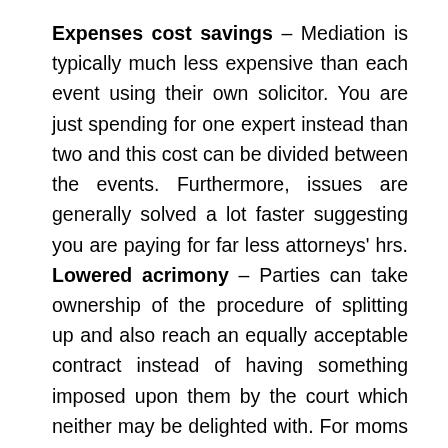Expenses cost savings – Mediation is typically much less expensive than each event using their own solicitor. You are just spending for one expert instead than two and this cost can be divided between the events. Furthermore, issues are generally solved a lot faster suggesting you are paying for far less attorneys' hrs. Lowered acrimony – Parties can take ownership of the procedure of splitting up and also reach an equally acceptable contract instead of having something imposed upon them by the court which neither may be delighted with. For moms and dads that will need to have a continuing